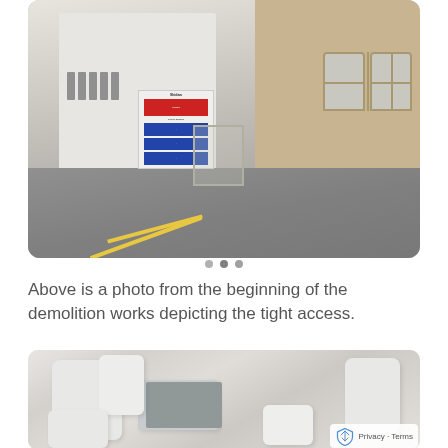[Figure (photo): Street-level photo from the beginning of demolition works showing a white rendered building on the left side of a narrow road, and a brick building with Georgian-style windows on the right. Construction signage and hoarding visible in the middle of the street, illustrating the tight access conditions.]
Above is a photo from the beginning of the demolition works depicting the tight access.
[Figure (photo): Interior photo showing white modern furniture including sofas and a dining table with chairs, appearing to be a 3D render or showroom image.]